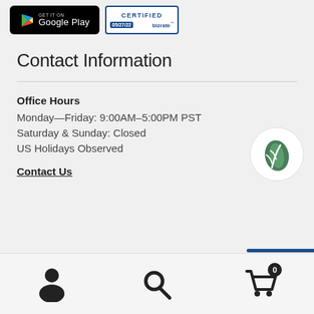[Figure (logo): Google Play badge — black rounded rectangle with Play Store triangle icon and 'Google Play' text in white]
[Figure (logo): Bizrate Certified badge — blue bordered rectangle showing 'CERTIFIED 05/27/22 bizrate']
Contact Information
Office Hours
Monday—Friday: 9:00AM–5:00PM PST
Saturday & Sunday: Closed
US Holidays Observed
Contact Us
[Figure (logo): Green leaf logo icon in white circle]
[Figure (illustration): Bottom navigation bar with person icon, search icon, and shopping cart icon with badge showing 0]